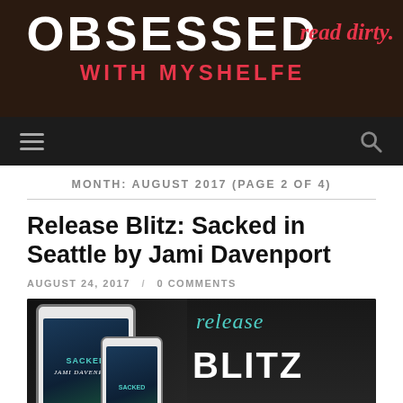OBSESSED with MYSHELFE — read dirty.
MONTH: AUGUST 2017 (PAGE 2 OF 4)
Release Blitz: Sacked in Seattle by Jami Davenport
AUGUST 24, 2017 / 0 COMMENTS
[Figure (photo): Book release blitz promotional image for 'Sacked in Seattle' by Jami Davenport showing book mockups on iPad and phone devices on the left, with release blitz text and 'now available' store icons on a dark background on the right.]